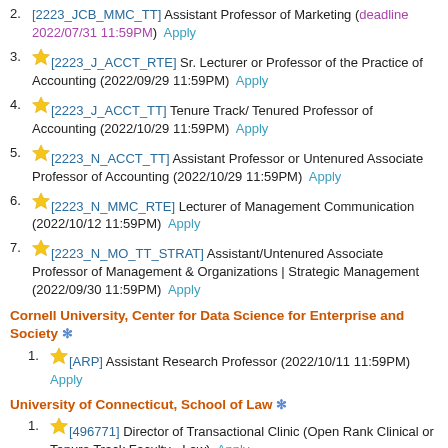2. [2223_JCB_MMC_TT] Assistant Professor of Marketing (deadline 2022/07/31 11:59PM) Apply
3. [2223_J_ACCT_RTE] Sr. Lecturer or Professor of the Practice of Accounting (2022/09/29 11:59PM) Apply
4. [2223_J_ACCT_TT] Tenure Track/ Tenured Professor of Accounting (2022/10/29 11:59PM) Apply
5. [2223_N_ACCT_TT] Assistant Professor or Untenured Associate Professor of Accounting (2022/10/29 11:59PM) Apply
6. [2223_N_MMC_RTE] Lecturer of Management Communication (2022/10/12 11:59PM) Apply
7. [2223_N_MO_TT_STRAT] Assistant/Untenured Associate Professor of Management & Organizations | Strategic Management (2022/09/30 11:59PM) Apply
Cornell University, Center for Data Science for Enterprise and Society *
1. [ARP] Assistant Research Professor (2022/10/11 11:59PM) Apply
University of Connecticut, School of Law *
1. [496771] Director of Transactional Clinic (Open Rank Clinical or Tenure Track Faculty - Law) Apply